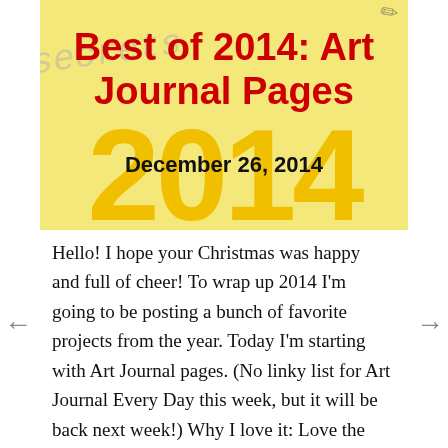[Figure (illustration): Banner image with yellow background, large faded '2014' text, cursive handwriting watermark, red bold title 'Best of 2014: Art Journal Pages', and black bold date 'December 26, 2014']
Hello! I hope your Christmas was happy and full of cheer! To wrap up 2014 I'm going to be posting a bunch of favorite projects from the year. Today I'm starting with Art Journal pages. (No linky list for Art Journal Every Day this week, but it will be back next week!) Why I love it: Love the way the hair and journaling